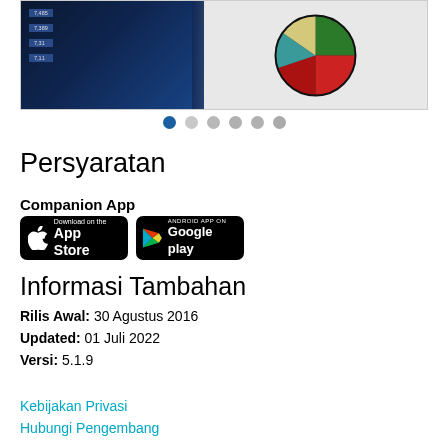[Figure (screenshot): App screenshot showing a dark blue bar chart on the left and a pie chart on the right with colored segments (red, green, black, yellow, teal). Below the screenshot are 6 pagination dots, first one filled dark blue and the rest gray.]
Persyaratan
Companion App
[Figure (screenshot): Two app store download buttons: 'Download on the App Store' (Apple) and 'Android App on Google Play']
Informasi Tambahan
Rilis Awal: 30 Agustus 2016
Updated: 01 Juli 2022
Versi: 5.1.9
Kebijakan Privasi
Hubungi Pengembang